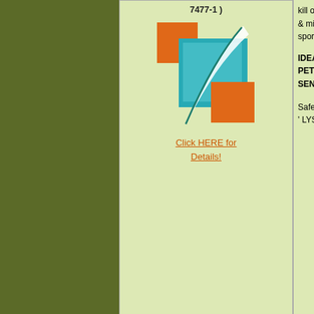[Figure (photo): Dark olive/green sidebar background on left portion of page]
7477-1 )
[Figure (logo): Logo with teal/cyan overlapping squares and a leaf/feather graphic with orange corner accents]
Click HERE for Details!
kill over 99.99% of & mildew, yeast, a spores on hard su
IDEAL AROUND C PETS , & THE CH SENSITIVE !
Safer Alternative t ' LYSOL' ®
ENVIRONMENTA
BOTANICAL SPRAY DISINFECTANT
E.P.A . Reg # 7477-1
BENEFECT : Mad Botanical Ingredi kill over 99.99% o & mildew, yeast, a spores from hard
[Figure (photo): White spray bottle of Botanical Disinfectant with green label showing 'GREEN CERTIFIED' badge and Benefect branding]
IDEAL AROUND C PETS , & THE CH SENSITIVE !
Fragrance : Thym
Safer Alternative t ' LYSOL' ®
ACCREDITATION: